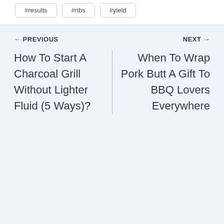#results
#ribs
#yield
← PREVIOUS
NEXT →
How To Start A Charcoal Grill Without Lighter Fluid (5 Ways)?
When To Wrap Pork Butt A Gift To BBQ Lovers Everywhere